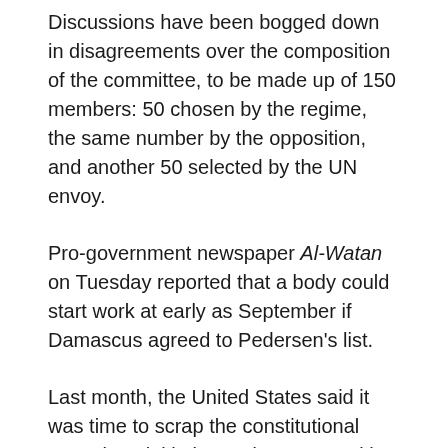Discussions have been bogged down in disagreements over the composition of the committee, to be made up of 150 members: 50 chosen by the regime, the same number by the opposition, and another 50 selected by the UN envoy.
Pro-government newspaper Al-Watan on Tuesday reported that a body could start work at early as September if Damascus agreed to Pedersen's list.
Last month, the United States said it was time to scrap the constitutional committee initiative and come up with other ways to end the war.
Numerous rounds of UN-led peace talks have failed to end a war that has killed more than 370,000 people and displaced millions since it started in 2011 with the repression of anti-government protests.